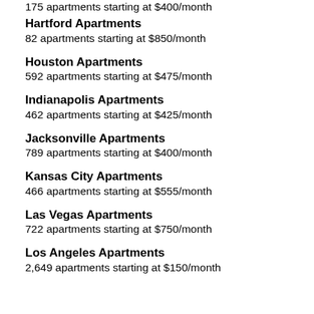175 apartments starting at $400/month
Hartford Apartments
82 apartments starting at $850/month
Houston Apartments
592 apartments starting at $475/month
Indianapolis Apartments
462 apartments starting at $425/month
Jacksonville Apartments
789 apartments starting at $400/month
Kansas City Apartments
466 apartments starting at $555/month
Las Vegas Apartments
722 apartments starting at $750/month
Los Angeles Apartments
2,649 apartments starting at $150/month